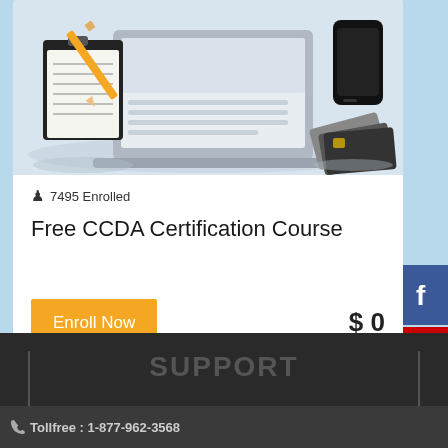[Figure (illustration): Course card illustration showing a laptop, clipboard with notepad and pencil, keyboard, smartphone and credit cards on a light grey desk surface]
7495 Enrolled
Free CCDA Certification Course
Enroll Now
$0
[Figure (logo): Facebook social media button (blue with white f icon)]
[Figure (logo): YouTube social media button (red with white play icon)]
Tollfree : 1-877-962-3568
SUPPORT